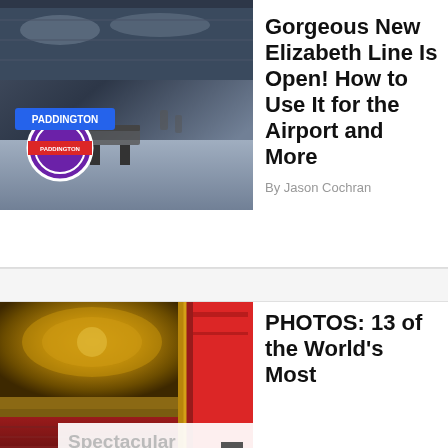[Figure (photo): Paddington underground station interior with purple London Underground roundel sign and platform area]
Gorgeous New Elizabeth Line Is Open! How to Use It for the Airport and More
By Jason Cochran
[Figure (photo): Interior of an ornate theater with gilded ceiling, red seats, and red curtain on stage]
PHOTOS: 13 of the World's Most Spectacular Theaters